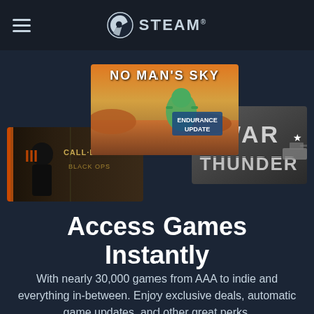STEAM®
[Figure (screenshot): Three overlapping game banner images: No Man's Sky (Endurance Update), War Thunder, and Call of Duty Black Ops]
Access Games Instantly
With nearly 30,000 games from AAA to indie and everything in-between. Enjoy exclusive deals, automatic game updates, and other great perks.